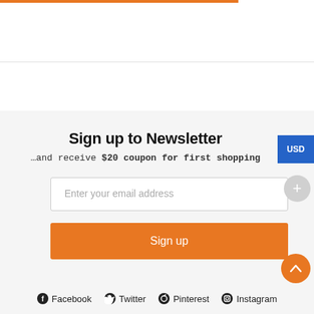Sign up to Newsletter
…and receive $20 coupon for first shopping
Enter your email address
Sign up
USD
Facebook  Twitter  Pinterest  Instagram